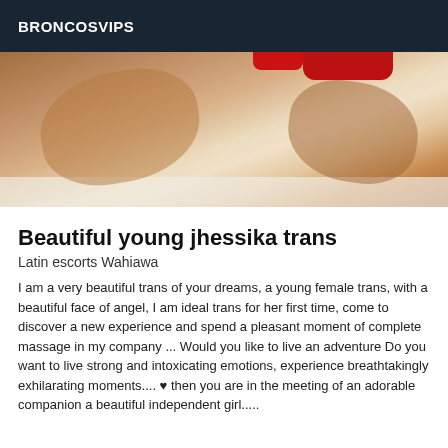BRONCOSVIPS
[Figure (photo): Cropped photo showing a person lying down, warm brown skin tones, white surface, red clothing visible at top]
Beautiful young jhessika trans
Latin escorts Wahiawa
I am a very beautiful trans of your dreams, a young female trans, with a beautiful face of angel, I am ideal trans for her first time, come to discover a new experience and spend a pleasant moment of complete massage in my company ... Would you like to live an adventure Do you want to live strong and intoxicating emotions, experience breathtakingly exhilarating moments.... ♥ then you are in the meeting of an adorable companion a beautiful independent girl.....